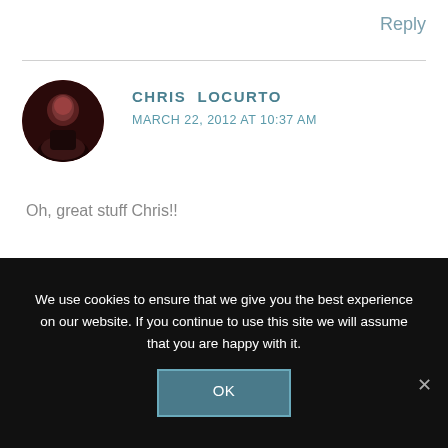Reply
[Figure (photo): Circular avatar photo of Chris LoCurto, a man in dark clothing against a dark red/brown background]
CHRIS LOCURTO
MARCH 22, 2012 AT 10:37 AM
Oh, great stuff Chris!!
The crazy thing is, I know the wounds can heel, but the scars remain. I have to reming myself not to rip open the scare again. Leave it alone and
We use cookies to ensure that we give you the best experience on our website. If you continue to use this site we will assume that you are happy with it.
OK